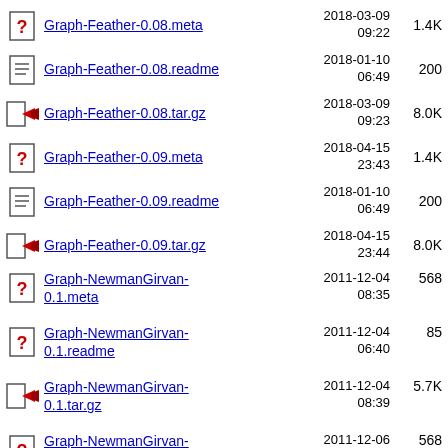Graph-Feather-0.08.meta  2018-03-09 09:22  1.4K
Graph-Feather-0.08.readme  2018-01-10 06:49  200
Graph-Feather-0.08.tar.gz  2018-03-09 09:23  8.0K
Graph-Feather-0.09.meta  2018-04-15 23:43  1.4K
Graph-Feather-0.09.readme  2018-01-10 06:49  200
Graph-Feather-0.09.tar.gz  2018-04-15 23:44  8.0K
Graph-NewmanGirvan-0.1.meta  2011-12-04 08:35  568
Graph-NewmanGirvan-0.1.readme  2011-12-04 06:40  85
Graph-NewmanGirvan-0.1.tar.gz  2011-12-04 08:39  5.7K
Graph-NewmanGirvan-0.3.meta  2011-12-06 07:23  568
Graph-NewmanGirvan-0.3.readme  2011-12-04 06:40  85
Graph-NewmanGirvan- (partial)  2011-12-06